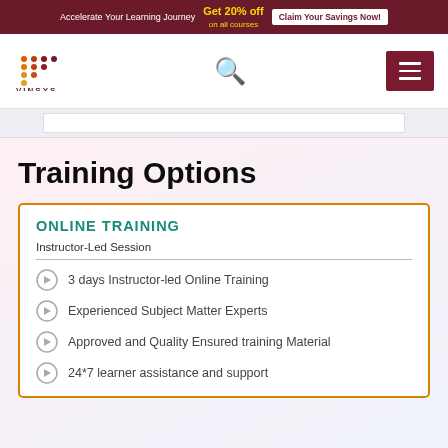Accelerate Your Learning Journey  Get 20% off on all courses  Claim Your Savings Now!
[Figure (logo): Vinsys logo with orange/red dot pattern above the text VINSYS]
Training Options
ONLINE TRAINING
Instructor-Led Session
3 days Instructor-led Online Training
Experienced Subject Matter Experts
Approved and Quality Ensured training Material
24*7 learner assistance and support